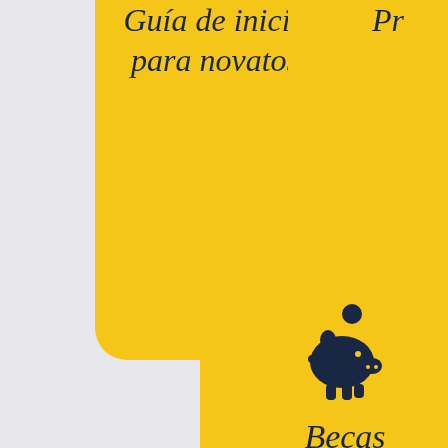[Figure (infographic): Yellow rounded card with italic text 'Guía de inicio para novatos' in dark navy color, partially cropped at top]
[Figure (infographic): Yellow rounded card partially visible on right side with text starting 'Pr' in dark navy italic, cropped]
[Figure (infographic): Yellow rounded card with piggy bank icon and italic text 'Becas' in dark navy color, bottom center-right]